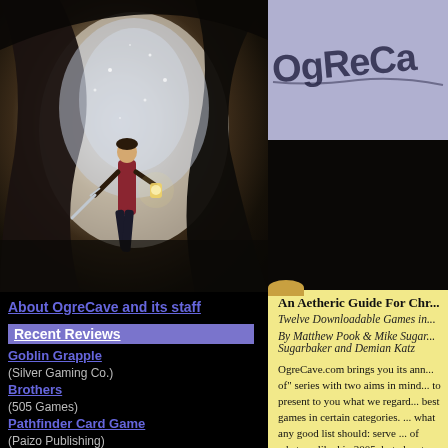[Figure (illustration): Cave entrance scene with adventurer holding lantern and sword, dark fantasy art style]
[Figure (logo): OgreCave logo text in hand-drawn style on purple/blue background]
About OgreCave and its staff
Recent Reviews
Goblin Grapple (Silver Gaming Co.)
Brothers (505 Games)
Pathfinder Card Game (Paizo Publishing)
Cthulhu Invictus Companion (Chaosium)
Boss Monster! (Brotherwise Games)
An Aetheric Guide For Chr...
Twelve Downloadable Games in...
By Matthew Pook & Mike Sugar... Sugarbaker and Demian Katz
OgreCave.com brings you its ann... of" series with two aims in mind... to present to you what we regard... best games in certain categories.... what any good list should: serve... of what we liked in 2005, but als... to receive this Christmas. Thus e... satisfy almost everyone, whether... game, a big game, a card game, a...